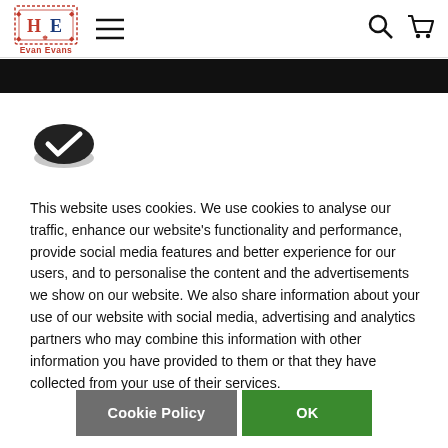[Figure (logo): Evan Evans logo with HE monogram in decorative red and blue border, with text 'Evan Evans' below in red]
[Figure (other): Hamburger menu icon (three horizontal lines)]
[Figure (other): Search (magnifying glass) icon]
[Figure (other): Shopping cart icon]
[Figure (other): Cookie icon: dark oval cookie with white checkmark]
This website uses cookies. We use cookies to analyse our traffic, enhance our website's functionality and performance, provide social media features and better experience for our users, and to personalise the content and the advertisements we show on our website. We also share information about your use of our website with social media, advertising and analytics partners who may combine this information with other information you have provided to them or that they have collected from your use of their services.
Cookie Policy
OK